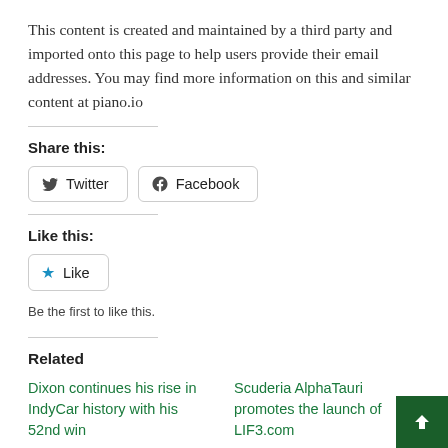This content is created and maintained by a third party and imported onto this page to help users provide their email addresses. You may find more information on this and similar content at piano.io
Share this:
[Figure (screenshot): Share buttons: Twitter and Facebook]
Like this:
[Figure (screenshot): Like button with star icon]
Be the first to like this.
Related
Dixon continues his rise in IndyCar history with his 52nd win
Scuderia AlphaTauri promotes the launch of LIF3.com